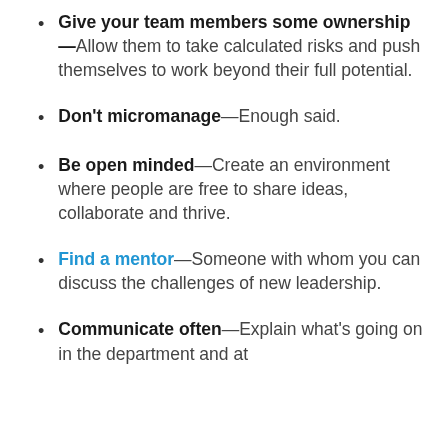Give your team members some ownership—Allow them to take calculated risks and push themselves to work beyond their full potential.
Don't micromanage—Enough said.
Be open minded—Create an environment where people are free to share ideas, collaborate and thrive.
Find a mentor—Someone with whom you can discuss the challenges of new leadership.
Communicate often—Explain what's going on in the department and at